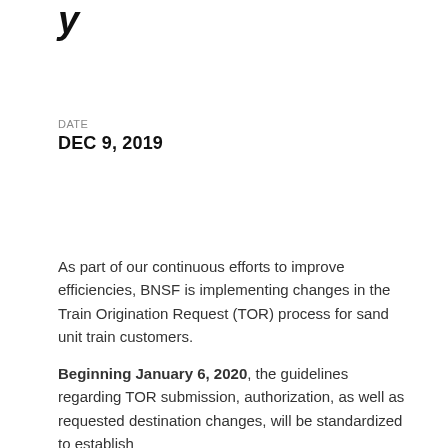y
DATE
DEC 9, 2019
As part of our continuous efforts to improve efficiencies, BNSF is implementing changes in the Train Origination Request (TOR) process for sand unit train customers.
Beginning January 6, 2020, the guidelines regarding TOR submission, authorization, as well as requested destination changes, will be standardized to establish